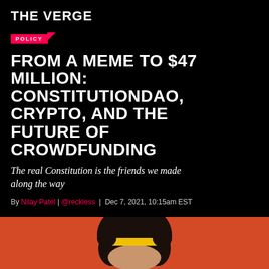THE VERGE
POLICY
FROM A MEME TO $47 MILLION: CONSTITUTIONDAO, CRYPTO, AND THE FUTURE OF CROWDFUNDING
The real Constitution is the friends we made along the way
By Nilay Patel | @reckless | Dec 7, 2021, 10:15am EST
[Figure (photo): Person wearing a yellow headband against an orange/red background, cropped to show top of head]
THE VERGE